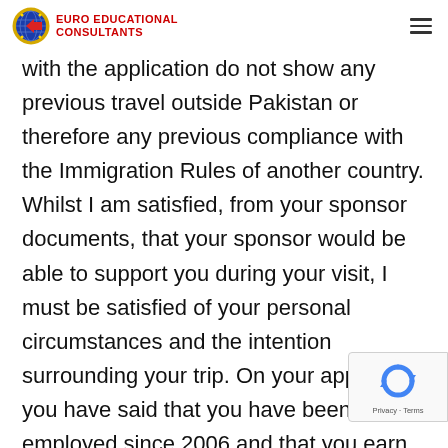EURO EDUCATIONAL CONSULTANTS
with the application do not show any previous travel outside Pakistan or therefore any previous compliance with the Immigration Rules of another country. Whilst I am satisfied, from your sponsor documents, that your sponsor would be able to support you during your visit, I must be satisfied of your personal circumstances and the intention surrounding your trip. On your application you have said that you have been self employed since 2006 and that you earn Rs 75,000 (£540.52) a month